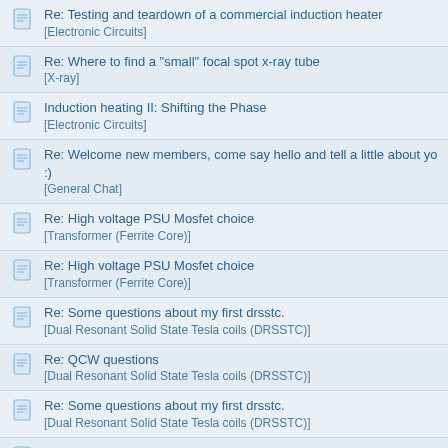Re: Testing and teardown of a commercial induction heater [Electronic Circuits]
Re: Where to find a "small" focal spot x-ray tube [X-ray]
Induction heating II: Shifting the Phase [Electronic Circuits]
Re: Welcome new members, come say hello and tell a little about yo :) [General Chat]
Re: High voltage PSU Mosfet choice [Transformer (Ferrite Core)]
Re: High voltage PSU Mosfet choice [Transformer (Ferrite Core)]
Re: Some questions about my first drsstc. [Dual Resonant Solid State Tesla coils (DRSSTC)]
Re: QCW questions [Dual Resonant Solid State Tesla coils (DRSSTC)]
Re: Some questions about my first drsstc. [Dual Resonant Solid State Tesla coils (DRSSTC)]
Re: Huawei RRU3928 1800MHz radio base station teardown (part 1 2) [Radio Frequency]
Some questions about my first drsstc. [Dual Resonant Solid State Tesla coils (DRSSTC)]
DIY High Voltage transformer winding TROUBLE